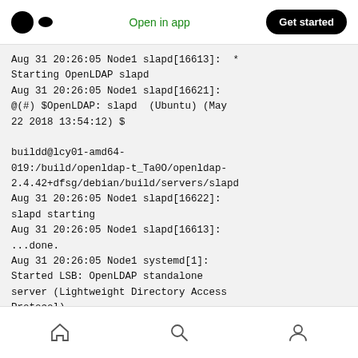Open in app   Get started
Aug 31 20:26:05 Node1 slapd[16613]:  *
Starting OpenLDAP slapd
Aug 31 20:26:05 Node1 slapd[16621]:
@(#) $OpenLDAP: slapd  (Ubuntu) (May
22 2018 13:54:12) $

buildd@lcy01-amd64-019:/build/openldap-t_Ta0O/openldap-2.4.42+dfsg/debian/build/servers/slapd
Aug 31 20:26:05 Node1 slapd[16622]:
slapd starting
Aug 31 20:26:05 Node1 slapd[16613]:
...done.
Aug 31 20:26:05 Node1 systemd[1]:
Started LSB: OpenLDAP standalone
server (Lightweight Directory Access
Protocol).
Home  Search  Profile